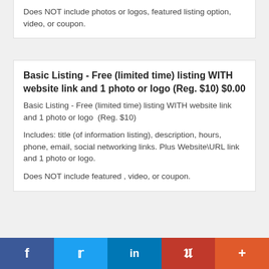Does NOT include photos or logos, featured listing option, video, or coupon.
Basic Listing - Free (limited time) listing WITH website link and 1 photo or logo (Reg. $10) $0.00
Basic Listing - Free (limited time) listing WITH website link and 1 photo or logo  (Reg. $10)
Includes: title (of information listing), description, hours, phone, email, social networking links. Plus Website\URL link and 1 photo or logo.
Does NOT include featured , video, or coupon.
f  Twitter  in  Pinterest  +